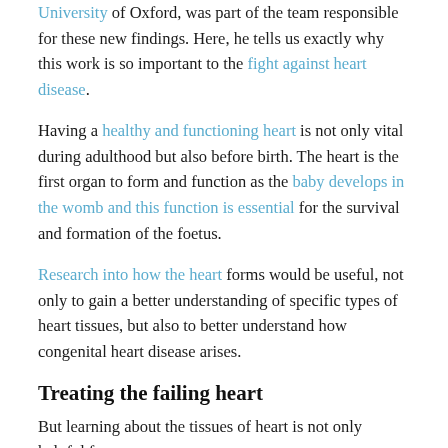University of Oxford, was part of the team responsible for these new findings. Here, he tells us exactly why this work is so important to the fight against heart disease.
Having a healthy and functioning heart is not only vital during adulthood but also before birth. The heart is the first organ to form and function as the baby develops in the womb and this function is essential for the survival and formation of the foetus.
Research into how the heart forms would be useful, not only to gain a better understanding of specific types of heart tissues, but also to better understand how congenital heart disease arises.
Treating the failing heart
But learning about the tissues of heart is not only helpful for